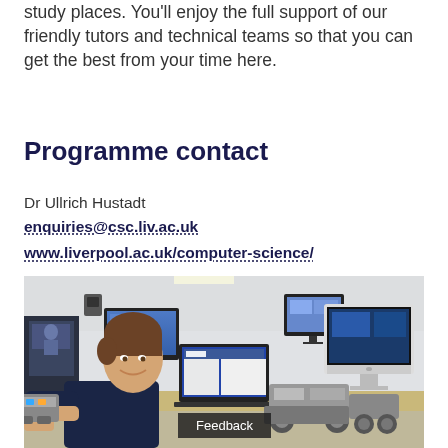study places. You'll enjoy the full support of our friendly tutors and technical teams so that you can get the best from your time here.
Programme contact
Dr Ullrich Hustadt
enquiries@csc.liv.ac.uk
www.liverpool.ac.uk/computer-science/
[Figure (photo): A student working with robotics/LEGO Mindstorms in a computer lab. Monitors and iMac computers visible in background. A 'Feedback' label overlay appears at bottom.]